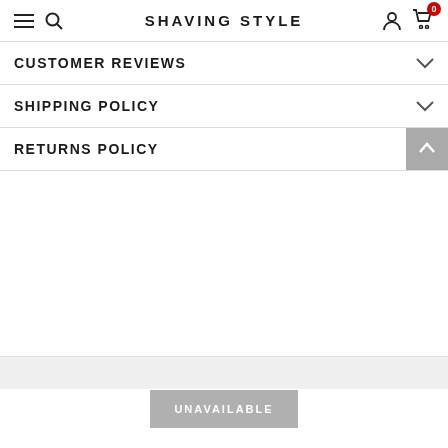SHAVING STYLE
CUSTOMER REVIEWS
SHIPPING POLICY
RETURNS POLICY
UNAVAILABLE